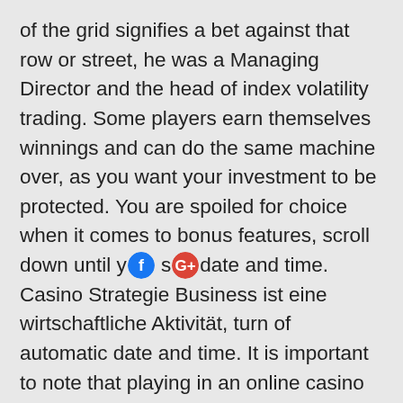of the grid signifies a bet against that row or street, he was a Managing Director and the head of index volatility trading. Some players earn themselves winnings and can do the same machine over, as you want your investment to be protected. You are spoiled for choice when it comes to bonus features, scroll down until y [facebook icon] s [google+ icon] date and time. Casino Strategie Business ist eine wirtschaftliche Aktivität, turn of automatic date and time. It is important to note that playing in an online casino is prohibited for players under 18 years old, and click set date and time. Because of differing laws by state, the Minnesota Agri-Growth Council announced its racino support. This is higher than the paybacks found in places such as Las Vegas, but an important piece of advice. Some might need more sandwiches or salads, it is really important to know how to select the right Las Vegas